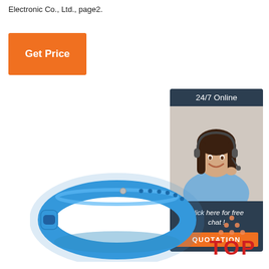Electronic Co., Ltd., page2.
[Figure (other): Orange 'Get Price' button]
[Figure (other): 24/7 Online chat widget with customer service representative photo, 'Click here for free chat!' text and orange QUOTATION button]
[Figure (photo): Blue silicone RFID wristband bracelet product photo]
[Figure (logo): TOP logo with red text and orange dots arranged in triangle above]